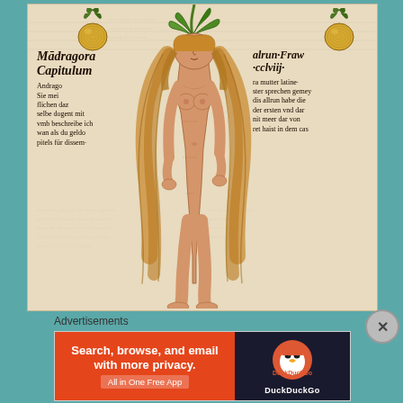[Figure (illustration): Medieval woodcut illustration of a mandrake plant depicted as a female human figure (Mandragora/Alrun) with long flowing hair, standing upright, with plant roots as body and onion-like mandrake fruits at the top corners. Text in blackletter script flanks the figure on both sides. Left text reads: Mādragora Capitulum / Andrago / Sie mei / flichen daz / selbe dogent mit / vmb beschreibe ich / wan als du geldo / pitels fur dissem. Right text reads: alrun·Fraw / ·cclviij· / ra mutter latine / ster sprechen gemey / dis allrun habe die / der ersten vnd dar / nit meer dar von / ret haist in dem cas]
Advertisements
[Figure (screenshot): DuckDuckGo advertisement banner. Orange left panel with text: 'Search, browse, and email with more privacy. All in One Free App'. Dark right panel with DuckDuckGo duck logo and brand name.]